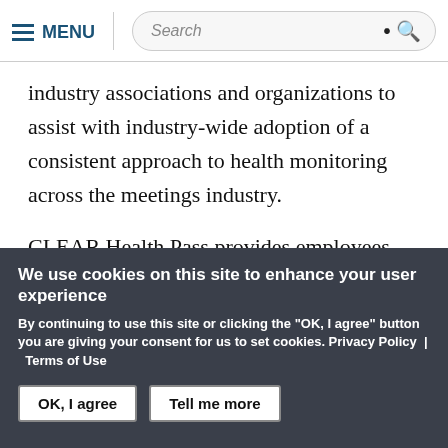MENU | Search
industry associations and organizations to assist with industry-wide adoption of a consistent approach to health monitoring across the meetings industry.

CLEAR Health Pass provides employees and attendees with a seamless way to upload proof of
We use cookies on this site to enhance your user experience
By continuing to use this site or clicking the "OK, I agree" button you are giving your consent for us to set cookies. Privacy Policy | Terms of Use
OK, I agree | Tell me more